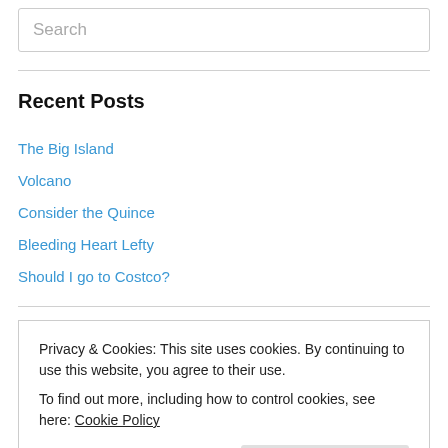Search
Recent Posts
The Big Island
Volcano
Consider the Quince
Bleeding Heart Lefty
Should I go to Costco?
Archives
Privacy & Cookies: This site uses cookies. By continuing to use this website, you agree to their use. To find out more, including how to control cookies, see here: Cookie Policy
Close and accept
June 2016